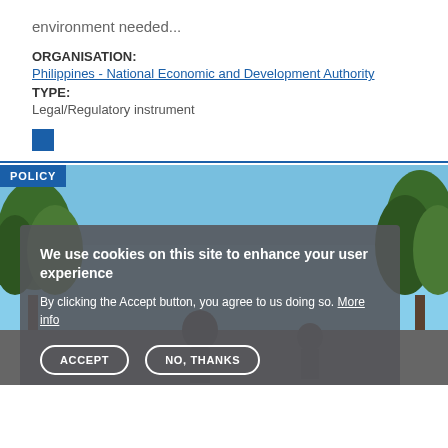environment needed...
ORGANISATION:
Philippines - National Economic and Development Authority
TYPE:
Legal/Regulatory instrument
[Figure (screenshot): A policy card with a photo of trees and sky in the background, overlaid with a cookie consent dialog reading 'We use cookies on this site to enhance your user experience. By clicking the Accept button, you agree to us doing so. More info' with ACCEPT and NO, THANKS buttons. A blue POLICY badge is in the top left corner.]